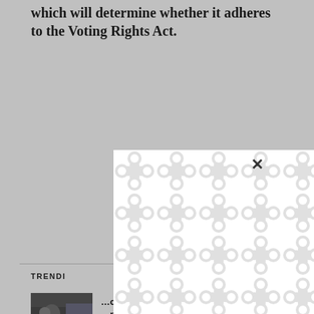which will determine whether it adheres to the Voting Rights Act.
TRENDING
[Figure (photo): Small thumbnail photo of a person near a vehicle, dark/green tones]
…cused … holds
[Figure (photo): Black and white photo of several men in suits, appears historical]
…hotos of the former Soviet leader
[Figure (photo): Color photo of a man, partially visible]
Charlie Crist resigning House seat after…
[Figure (other): A modal/popup overlay with a white background showing a repeating chain-link or connected circles pattern (site loading/placeholder graphic), with an X close button in the upper right]